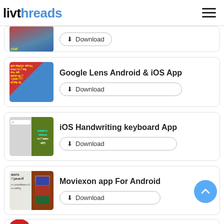livthreads
[Figure (screenshot): Partial card with download button, thumbnail partially visible at top]
Google Lens Android & iOS App
Download
iOS Handwriting keyboard App
Download
Moviexon app For Android
Download
Download Call Recorder App (partial)